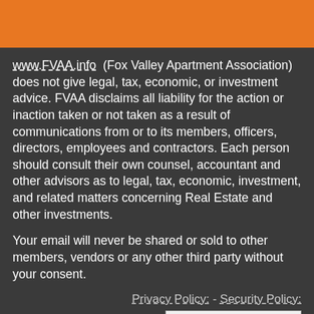www.FVAA.info (Fox Valley Apartment Association) does not give legal, tax, economic, or investment advice. FVAA disclaims all liability for the action or inaction taken or not taken as a result of communications from or to its members, officers, directors, employees and contractors. Each person should consult their own counsel, accountant and other advisors as to legal, tax, economic, investment, and related matters concerning Real Estate and other investments.
Your email will never be shared or sold to other members, vendors or any other third party without your consent.
Privacy Policy: - Security Policy:
[Figure (logo): Starfield Technologies logo with registered trademark symbol]